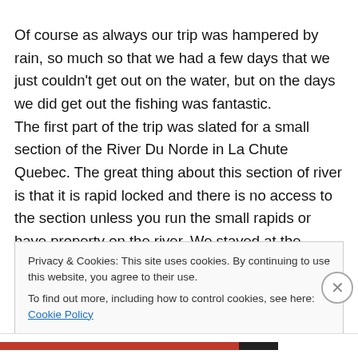Of course as always our trip was hampered by rain, so much so that we had a few days that we just couldn't get out on the water, but on the days we did get out the fishing was fantastic. The first part of the trip was slated for a small section of the River Du Norde in La Chute Quebec. The great thing about this section of river is that it is rapid locked and there is no access to the section unless you run the small rapids or have property on the river. We stayed at the
Privacy & Cookies: This site uses cookies. By continuing to use this website, you agree to their use.
To find out more, including how to control cookies, see here: Cookie Policy
Close and accept